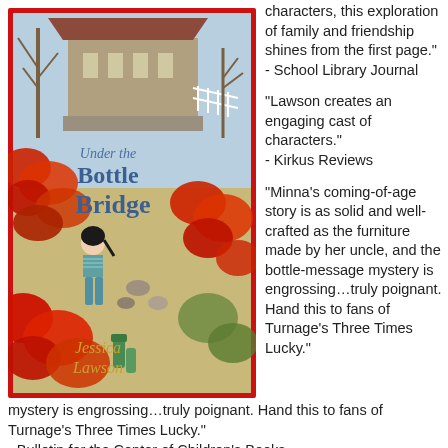[Figure (illustration): Book cover of 'Under the Bottle Bridge' by Jessica Lawson, showing a girl running through an autumn scene with red leaves, a covered bridge in the background, a red border, and bottles in the lower foreground. Title text in blue reads 'Under the Bottle Bridge' and author name in gold reads 'Jessica Lawson'.]
characters, this exploration of family and friendship shines from the first page."
- School Library Journal

"Lawson creates an engaging cast of characters."
- Kirkus Reviews

"Minna's coming-of-age story is as solid and well-crafted as the furniture made by her uncle, and the bottle-message mystery is engrossing…truly poignant. Hand this to fans of Turnage's Three Times Lucky."
- Bulletin for the Center of Children's Books